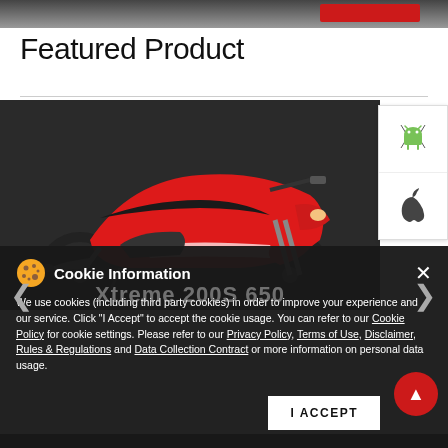[Figure (screenshot): Top banner image strip with dark background and red button element]
Featured Product
[Figure (photo): Red Hero Xtreme 200S 650 motorcycle on dark background]
[Figure (screenshot): Android and Apple app store download buttons on right side]
Cookie Information

We use cookies (including third party cookies) in order to improve your experience and our service. Click "I Accept" to accept the cookie usage. You can refer to our Cookie Policy for cookie settings. Please refer to our Privacy Policy, Terms of Use, Disclaimer, Rules & Regulations and Data Collection Contract or more information on personal data usage.